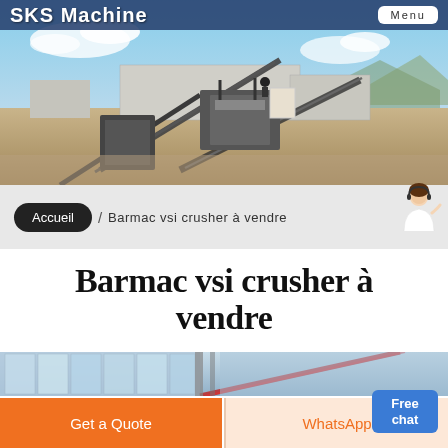SKS Machine  Menu
[Figure (photo): Outdoor industrial crushing/screening plant with conveyor belts and machinery on a sandy/rocky site with mountains in background]
Accueil / Barmac vsi crusher à vendre
[Figure (illustration): Customer service representative icon (woman with headset) next to blue Free chat button]
Barmac vsi crusher à vendre
[Figure (photo): Industrial facility with glass and metal structure, conveyor belts visible]
Get a Quote
WhatsApp